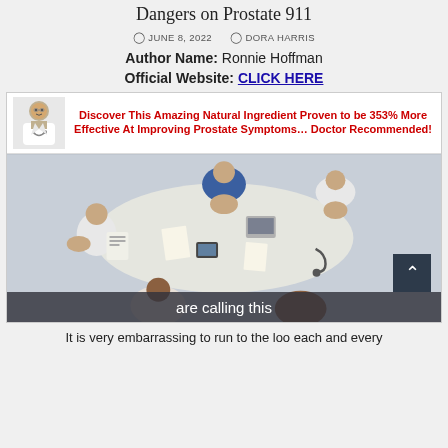Dangers on Prostate 911
JUNE 8, 2022   DORA HARRIS
Author Name: Ronnie Hoffman
Official Website: CLICK HERE
[Figure (photo): Advertisement banner showing Dr. Steve Klayman with text 'Discover This Amazing Natural Ingredient Proven to be 353% More Effective At Improving Prostate Symptoms... Doctor Recommended!' above a top-down photo of medical professionals sitting around a conference table, with caption overlay 'are calling this' and a scroll-up button.]
It is very embarrassing to run to the loo each and every